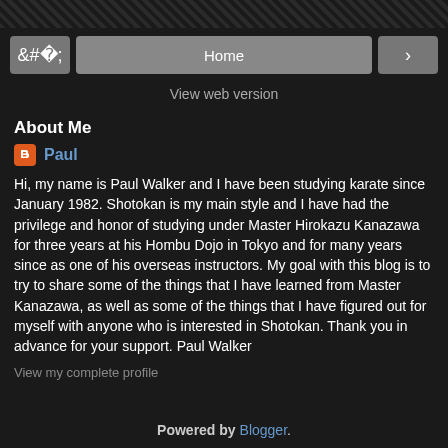< Home >
View web version
About Me
Paul
Hi, my name is Paul Walker and I have been studying karate since January 1982. Shotokan is my main style and I have had the privilege and honor of studying under Master Hirokazu Kanazawa for three years at his Hombu Dojo in Tokyo and for many years since as one of his overseas instructors. My goal with this blog is to try to share some of the things that I have learned from Master Kanazawa, as well as some of the things that I have figured out for myself with anyone who is interested in Shotokan. Thank you in advance for your support. Paul Walker
View my complete profile
Powered by Blogger.